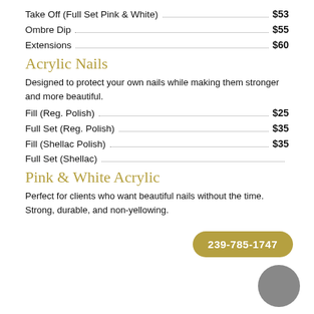Take Off (Full Set Pink & White) ... $53
Ombre Dip ... $55
Extensions ... $60
Acrylic Nails
Designed to protect your own nails while making them stronger and more beautiful.
Fill (Reg. Polish) ... $25
Full Set (Reg. Polish) ... $35
Fill (Shellac Polish) ... $35
Full Set (Shellac)
239-785-1747
Pink & White Acrylic
Perfect for clients who want beautiful nails without the time. Strong, durable, and non-yellowing.